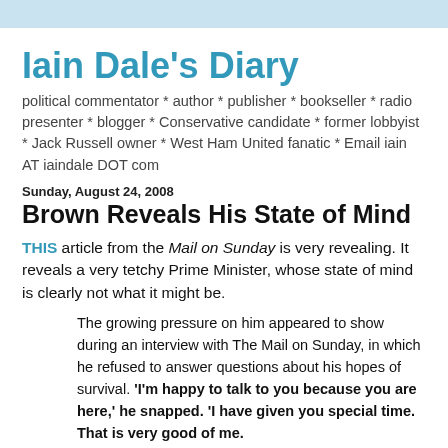Iain Dale's Diary
political commentator * author * publisher * bookseller * radio presenter * blogger * Conservative candidate * former lobbyist * Jack Russell owner * West Ham United fanatic * Email iain AT iaindale DOT com
Sunday, August 24, 2008
Brown Reveals His State of Mind
THIS article from the Mail on Sunday is very revealing. It reveals a very tetchy Prime Minister, whose state of mind is clearly not what it might be.
The growing pressure on him appeared to show during an interview with The Mail on Sunday, in which he refused to answer questions about his hopes of survival. 'I'm happy to talk to you because you are here,' he snapped. 'I have given you special time. That is very good of me.